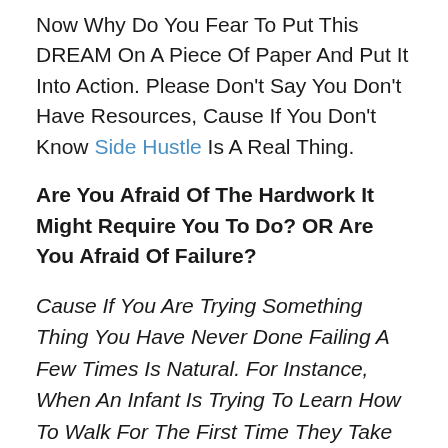Now Why Do You Fear To Put This DREAM On A Piece Of Paper And Put It Into Action. Please Don't Say You Don't Have Resources, Cause If You Don't Know Side Hustle Is A Real Thing.
Are You Afraid Of The Hardwork It Might Require You To Do? OR Are You Afraid Of Failure?
Cause If You Are Trying Something Thing You Have Never Done Failing A Few Times Is Natural. For Instance, When An Infant Is Trying To Learn How To Walk For The First Time They Take Baby Steps. They Fall, Gets Hurt, However They Don't Stop Trying...